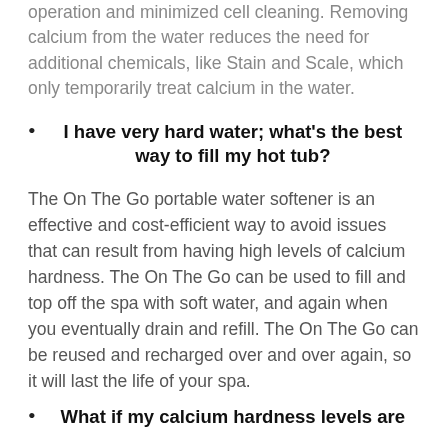operation and minimized cell cleaning. Removing calcium from the water reduces the need for additional chemicals, like Stain and Scale, which only temporarily treat calcium in the water.
I have very hard water; what's the best way to fill my hot tub?
The On The Go portable water softener is an effective and cost-efficient way to avoid issues that can result from having high levels of calcium hardness. The On The Go can be used to fill and top off the spa with soft water, and again when you eventually drain and refill. The On The Go can be reused and recharged over and over again, so it will last the life of your spa.
What if my calcium hardness levels are